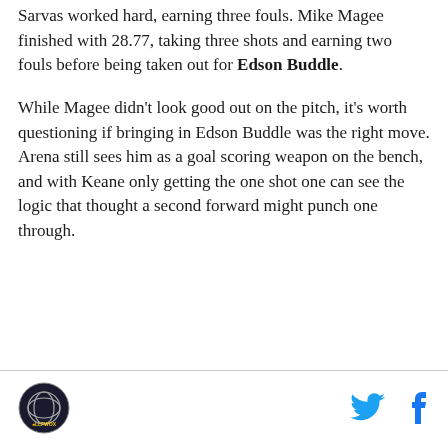Sarvas worked hard, earning three fouls. Mike Magee finished with 28.77, taking three shots and earning two fouls before being taken out for Edson Buddle.
While Magee didn't look good out on the pitch, it's worth questioning if bringing in Edson Buddle was the right move. Arena still sees him as a goal scoring weapon on the bench, and with Keane only getting the one shot one can see the logic that thought a second forward might punch one through.
[Figure (logo): Circular logo with globe/sports design and text]
[Figure (illustration): Twitter bird social media icon in cyan/blue]
[Figure (illustration): Facebook 'f' social media icon in blue]